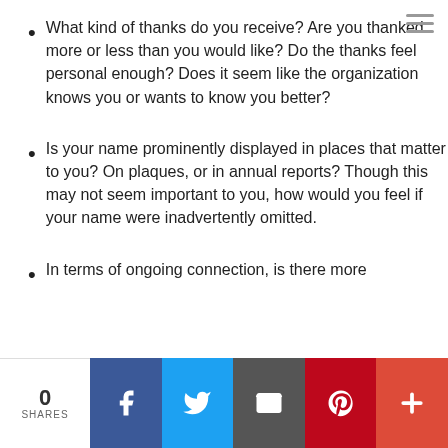What kind of thanks do you receive? Are you thanked more or less than you would like? Do the thanks feel personal enough? Does it seem like the organization knows you or wants to know you better?
Is your name prominently displayed in places that matter to you? On plaques, or in annual reports? Though this may not seem important to you, how would you feel if your name were inadvertently omitted.
In terms of ongoing connection, is there more